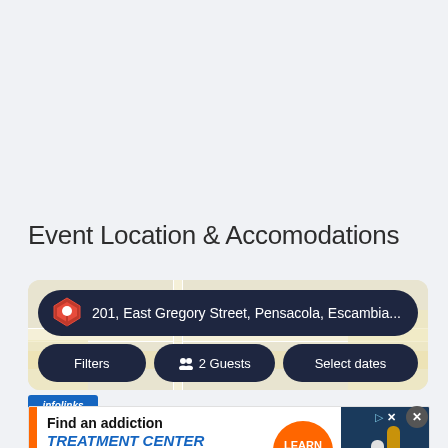Event Location & Accomodations
[Figure (map): Map widget showing address 201, East Gregory Street, Pensacola, Escambia... with Filters, 2 Guests, and Select dates buttons]
[Figure (infographic): Infolinks advertisement banner: Find an addiction TREATMENT CENTER in Virginia. with Learn More button and pill graphic]